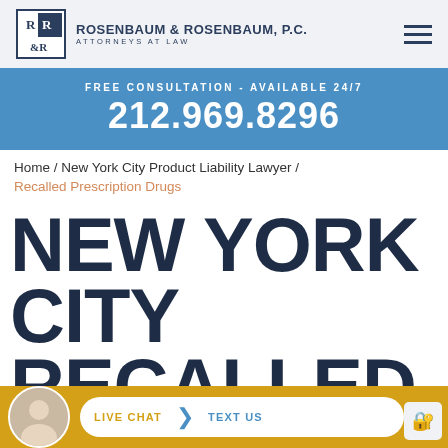[Figure (logo): Rosenbaum & Rosenbaum P.C. law firm logo with R&R monogram in a box]
ROSENBAUM & ROSENBAUM, P.C. ATTORNEYS AT LAW
FREE CONSULTATION - AVAILABLE 24/7
212.969.8296
Home / New York City Product Liability Lawyer /
Recalled Prescription Drugs
NEW YORK CITY RECALLED PRESCRIPTION
LIVE CHAT TEXT US